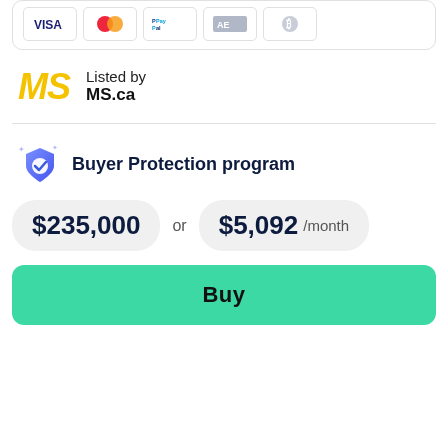[Figure (other): Payment icons: Visa, Mastercard, PayPal, American Express (or similar), Bitcoin, displayed in a card]
Listed by
MS.ca
Buyer Protection program
$235,000 or $5,092 /month
Buy